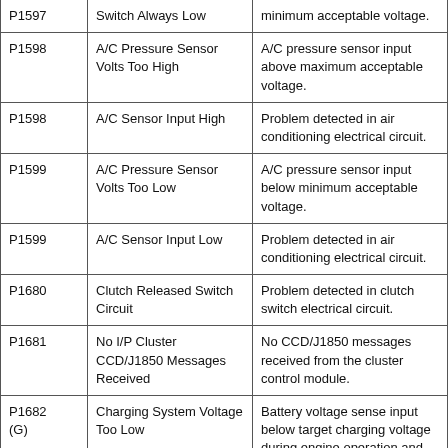| Code | Name | Description |
| --- | --- | --- |
| P1597 | Switch Always Low | minimum acceptable voltage. |
| P1598 | A/C Pressure Sensor Volts Too High | A/C pressure sensor input above maximum acceptable voltage. |
| P1598 | A/C Sensor Input High | Problem detected in air conditioning electrical circuit. |
| P1599 | A/C Pressure Sensor Volts Too Low | A/C pressure sensor input below minimum acceptable voltage. |
| P1599 | A/C Sensor Input Low | Problem detected in air conditioning electrical circuit. |
| P1680 | Clutch Released Switch Circuit | Problem detected in clutch switch electrical circuit. |
| P1681 | No I/P Cluster CCD/J1850 Messages Received | No CCD/J1850 messages received from the cluster control module. |
| P1682 (G) | Charging System Voltage Too Low | Battery voltage sense input below target charging voltage during engine operation and no significant change in voltage detected during active test of generator output |